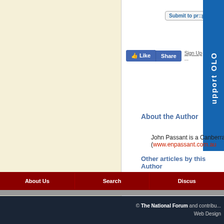Submit to pr::peller
Like  Share  Sign Up to see w...
About the Author
John Passant is a Canberra writer (www.enpassant.com.au
Other articles by this Author
» Justice as a commodity - August 13, 2012
» Attack the real bludgers, Gillard - April 19, 2011
» An interview with Norman Finkelstein - April 14, 2011
» Is it February in Tunisia? - January 21, 2011
» Germany, the overthrow of Stalinism and the left - Octobe
All articles by John Passant
This work is licensed under a
About Us    Search    Discus
© The National Forum and contribu... Web Design